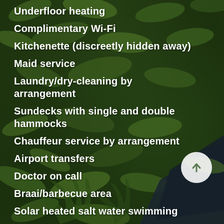[Figure (photo): Aerial view of lush green tropical foliage and vegetation, dark green leaves filling the entire background with a dark roof/structure visible in the lower right area.]
Underfloor heating
Complimentary Wi-Fi
Kitchenette (discreetly hidden away)
Maid service
Laundry/dry-cleaning by arrangement
Sundecks with single and double hammocks
Chauffeur service by arrangement
Airport transfers
Doctor on call
Braai/barbecue area
Solar heated salt water swimming